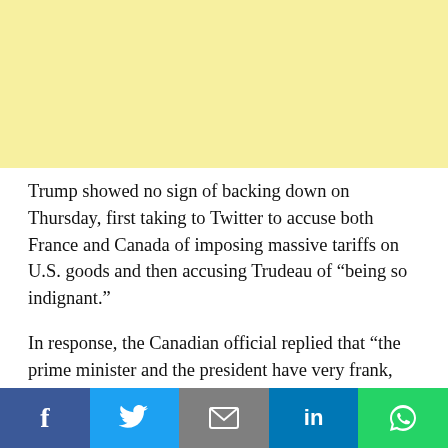[Figure (other): Yellow advertisement banner placeholder]
Trump showed no sign of backing down on Thursday, first taking to Twitter to accuse both France and Canada of imposing massive tariffs on U.S. goods and then accusing Trudeau of “being so indignant.”
In response, the Canadian official replied that “the prime minister and the president have very frank, direct, candid, honest conversations.” Trudeau and Trump are due to meet on Friday “and they will have lots to talk about,” the official added.
[Figure (other): Social media share bar with Facebook, Twitter, Email, LinkedIn, and WhatsApp buttons]